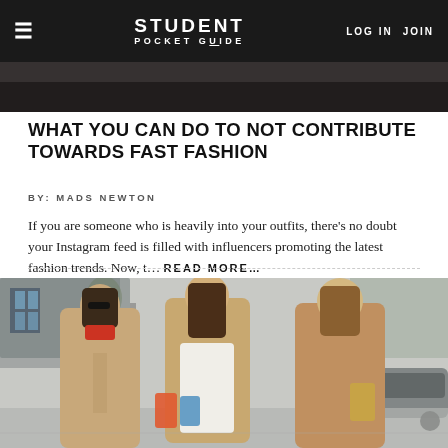STUDENT POCKET GUIDE | LOG IN | JOIN
[Figure (photo): Dark cropped photo strip at the top of the page beneath the navigation bar]
WHAT YOU CAN DO TO NOT CONTRIBUTE TOWARDS FAST FASHION
BY: MADS NEWTON
If you are someone who is heavily into your outfits, there's no doubt your Instagram feed is filled with influencers promoting the latest fashion trends. Now, t… READ MORE…
[Figure (photo): Three young women wearing long camel/tan coats walking outdoors on a street, carrying shopping bags, trees and a car visible in the background]